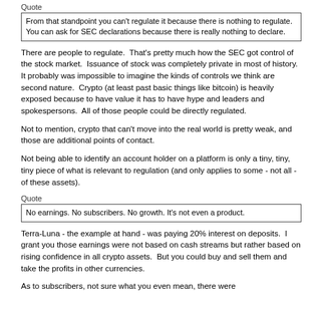Quote
From that standpoint you can't regulate it because there is nothing to regulate. You can ask for SEC declarations because there is really nothing to declare.
There are people to regulate. That's pretty much how the SEC got control of the stock market. Issuance of stock was completely private in most of history. It probably was impossible to imagine the kinds of controls we think are second nature. Crypto (at least past basic things like bitcoin) is heavily exposed because to have value it has to have hype and leaders and spokespersons. All of those people could be directly regulated.
Not to mention, crypto that can't move into the real world is pretty weak, and those are additional points of contact.
Not being able to identify an account holder on a platform is only a tiny, tiny, tiny piece of what is relevant to regulation (and only applies to some - not all - of these assets).
Quote
No earnings. No subscribers. No growth. It's not even a product.
Terra-Luna - the example at hand - was paying 20% interest on deposits. I grant you those earnings were not based on cash streams but rather based on rising confidence in all crypto assets. But you could buy and sell them and take the profits in other currencies.
As to subscribers, not sure what you even mean, there were